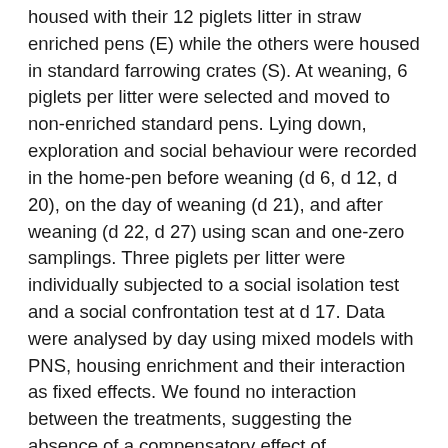housed with their 12 piglets litter in straw enriched pens (E) while the others were housed in standard farrowing crates (S). At weaning, 6 piglets per litter were selected and moved to non-enriched standard pens. Lying down, exploration and social behaviour were recorded in the home-pen before weaning (d 6, d 12, d 20), on the day of weaning (d 21), and after weaning (d 22, d 27) using scan and one-zero samplings. Three piglets per litter were individually subjected to a social isolation test and a social confrontation test at d 17. Data were analysed by day using mixed models with PNS, housing enrichment and their interaction as fixed effects. We found no interaction between the treatments, suggesting the absence of a compensatory effect of enrichment on PNS. Pre-weaning enrichment promoted exploration (P< 0.004) and seemed to improve comfort, as piglets spent more time lying down (P< 0.02), but was associated with reduced locomotion and play fighting (P< 0.03) compared to no enrichment. After weaning, E piglets explored less (P< 0.01) and played less